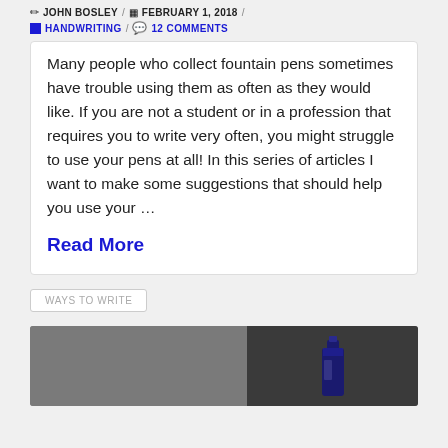JOHN BOSLEY / FEBRUARY 1, 2018 /
HANDWRITING / 12 COMMENTS
Many people who collect fountain pens sometimes have trouble using them as often as they would like. If you are not a student or in a profession that requires you to write very often, you might struggle to use your pens at all! In this series of articles I want to make some suggestions that should help you use your …
Read More
WAYS TO WRITE
[Figure (photo): Photograph of a fountain pen or ink bottle on a dark surface, showing a dark blue ink bottle on the right side]